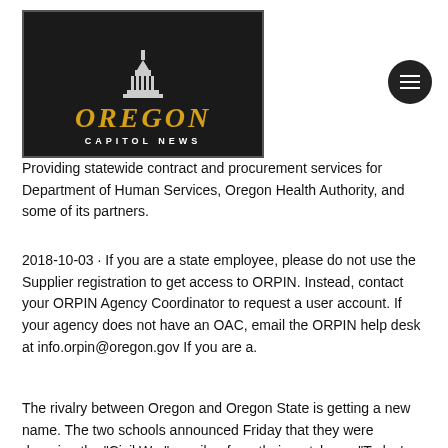[Figure (logo): Oregon Capitol News logo — dark background box with Oregon state capitol building silhouette on top, 'OREGON' in large gold italic serif letters, 'CAPITOL NEWS' in small white spaced sans-serif letters below]
Providing statewide contract and procurement services for Department of Human Services, Oregon Health Authority, and some of its partners.
2018-10-03  · If you are a state employee, please do not use the Supplier registration to get access to ORPIN. Instead, contact your ORPIN Agency Coordinator to request a user account. If your agency does not have an OAC, email the ORPIN help desk at info.orpin@oregon.gov If you are a.
The rivalry between Oregon and Oregon State is getting a new name. The two schools announced Friday that they were dropping the "Civil War" moniker from their matchups. "Today's